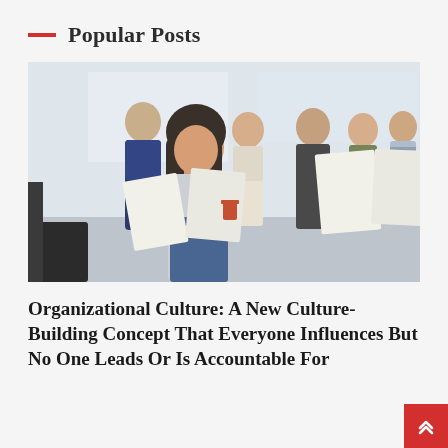Popular Posts
[Figure (photo): Group of young professionals in a bright office setting, smiling and looking at documents together. A woman in the foreground turns toward the camera with a smile.]
Organizational Culture: A New Culture-Building Concept That Everyone Influences But No One Leads Or Is Accountable For